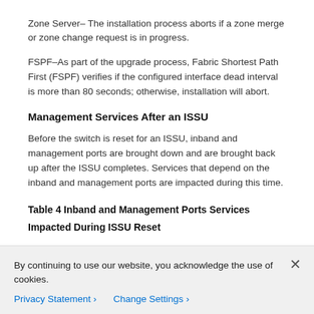Zone Server– The installation process aborts if a zone merge or zone change request is in progress.
FSPF–As part of the upgrade process, Fabric Shortest Path First (FSPF) verifies if the configured interface dead interval is more than 80 seconds; otherwise, installation will abort.
Management Services After an ISSU
Before the switch is reset for an ISSU, inband and management ports are brought down and are brought back up after the ISSU completes. Services that depend on the inband and management ports are impacted during this time.
Table 4 Inband and Management Ports Services Impacted During ISSU Reset
By continuing to use our website, you acknowledge the use of cookies.
Privacy Statement › Change Settings ›